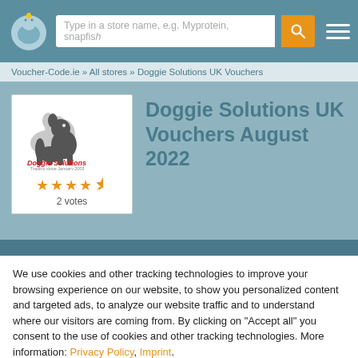Type in a store name, e.g. Myprotein, snapfish
Voucher-Code.ie » All stores » Doggie Solutions UK Vouchers
[Figure (logo): Doggie Solutions logo with dog silhouette and red brand text, with 4.5 stars rating and 2 votes]
Doggie Solutions UK Vouchers August 2022
We use cookies and other tracking technologies to improve your browsing experience on our website, to show you personalized content and targeted ads, to analyze our website traffic and to understand where our visitors are coming from. By clicking on "Accept all" you consent to the use of cookies and other tracking technologies. More information: Privacy Policy, Imprint.
Settings
Decline
Accept all